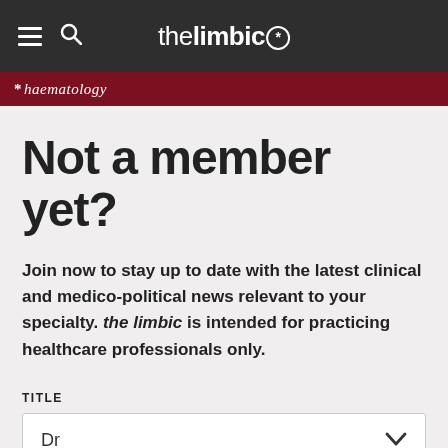thelimbic*
* haematology
Not a member yet?
Join now to stay up to date with the latest clinical and medico-political news relevant to your specialty. the limbic is intended for practicing healthcare professionals only.
TITLE
Dr